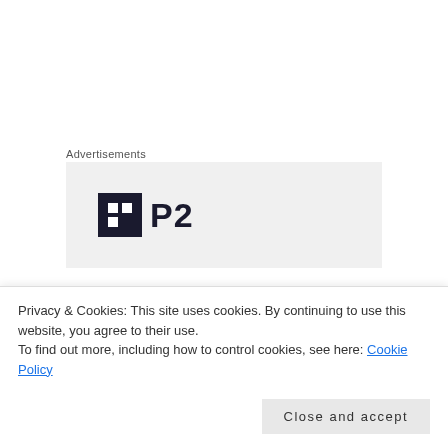Advertisements
[Figure (logo): P2 logo: dark square icon with grid pattern and bold P2 text on grey background]
I am actually really glad I don't know anything about photography. I was just selecting random settings on my camera and shooting pictures when I couldn't even see the screen properly. Some of the pictures turned out extremely light and some pictures came out dark and
Privacy & Cookies: This site uses cookies. By continuing to use this website, you agree to their use.
To find out more, including how to control cookies, see here: Cookie Policy
Close and accept